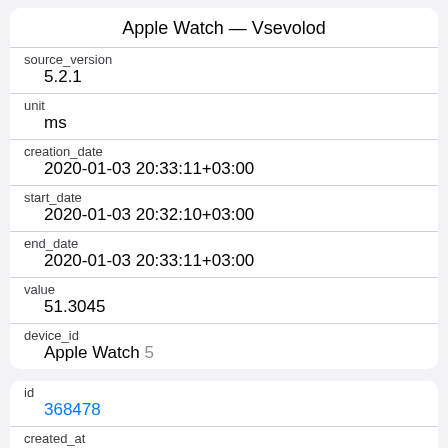Apple Watch — Vsevolod
| source_version | 5.2.1 |
| unit | ms |
| creation_date | 2020-01-03 20:33:11+03:00 |
| start_date | 2020-01-03 20:32:10+03:00 |
| end_date | 2020-01-03 20:33:11+03:00 |
| value | 51.3045 |
| device_id | Apple Watch 5 |
| id | 368478 |
| created_at | 2021-03-04 17:19:52.386529+03:00 |